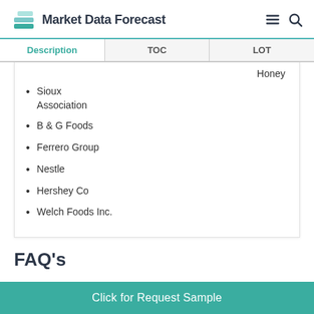Market Data Forecast
| Description | TOC | LOT |
| --- | --- | --- |
Sioux Association
B & G Foods
Ferrero Group
Nestle
Hershey Co
Welch Foods Inc.
FAQ's
Click for Request Sample